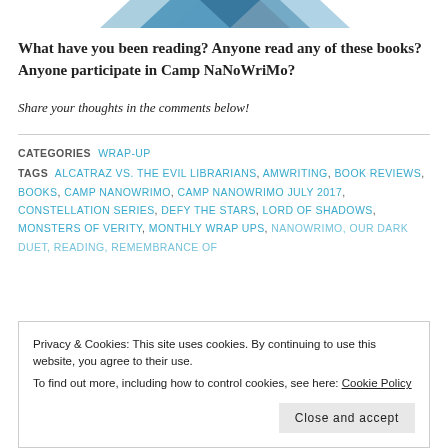[Figure (illustration): Partial decorative image at top of page, showing blue/dark abstract shapes]
What have you been reading? Anyone read any of these books? Anyone participate in Camp NaNoWriMo?
Share your thoughts in the comments below!
CATEGORIES  WRAP-UP
TAGS  ALCATRAZ VS. THE EVIL LIBRARIANS, AMWRITING, BOOK REVIEWS, BOOKS, CAMP NANOWRIMO, CAMP NANOWRIMO JULY 2017, CONSTELLATION SERIES, DEFY THE STARS, LORD OF SHADOWS, MONSTERS OF VERITY, MONTHLY WRAP UPS, NANOWRIMO, OUR DARK DUET, READING, REMEMBRANCE OF
Privacy & Cookies: This site uses cookies. By continuing to use this website, you agree to their use.
To find out more, including how to control cookies, see here: Cookie Policy
Close and accept